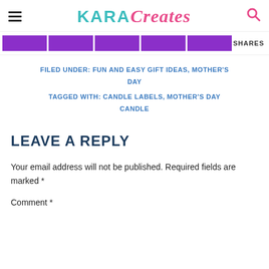KARA Creates
[Figure (infographic): Five purple social share buttons followed by SHARES label]
FILED UNDER: FUN AND EASY GIFT IDEAS, MOTHER'S DAY
TAGGED WITH: CANDLE LABELS, MOTHER'S DAY CANDLE
LEAVE A REPLY
Your email address will not be published. Required fields are marked *
Comment *